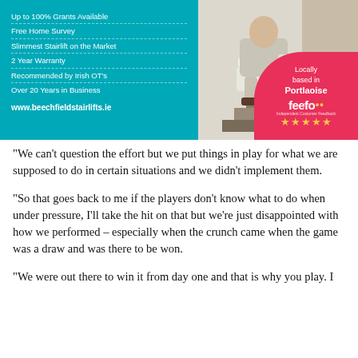[Figure (infographic): Advertisement for Beechfield Stairlifts. Teal blue left panel listing: Up to 100% Grants Available, Free Home Survey, Slimmest Stairlift on the Market, 2 Year Warranty, Recommended by Irish OT's, Over 20 Years in Business, www.beechfieldstairlifts.ie. Right panel shows photo of person sitting on stairlift on stairs. Pink bubble in bottom-right reads 'Locally based in Portlaoise' with Feefo 5-star logo.]
“We can’t question the effort but we put things in play for what we are supposed to do in certain situations and we didn’t implement them.
“So that goes back to me if the players don’t know what to do when under pressure, I’ll take the hit on that but we’re just disappointed with how we performed – especially when the crunch came when the game was a draw and was there to be won.
“We were out there to win it from day one and that is why you play. I